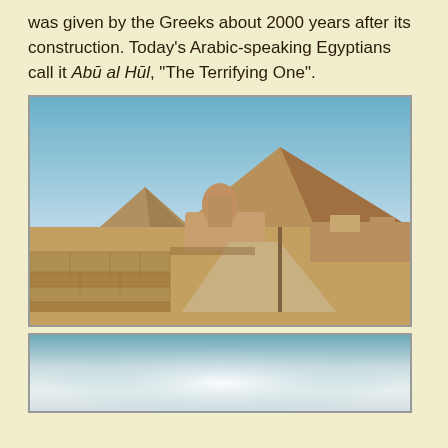was given by the Greeks about 2000 years after its construction. Today's Arabic-speaking Egyptians call it Abū al Hūl, "The Terrifying One".
[Figure (photo): Photograph of the Great Sphinx of Giza with pyramids in the background, sandy desert landscape, stone ruins in foreground]
[Figure (photo): Partial photograph, mostly sky with light blue-grey gradient, bottom of image cut off]